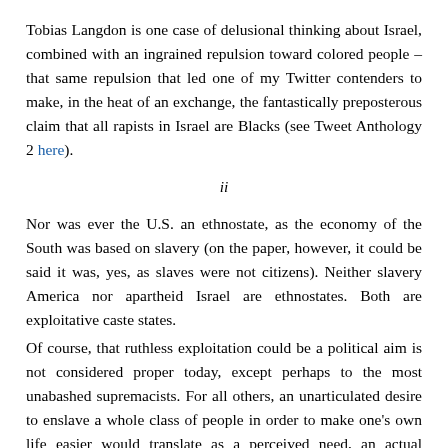Tobias Langdon is one case of delusional thinking about Israel, combined with an ingrained repulsion toward colored people – that same repulsion that led one of my Twitter contenders to make, in the heat of an exchange, the fantastically preposterous claim that all rapists in Israel are Blacks (see Tweet Anthology 2 here).
ii
Nor was ever the U.S. an ethnostate, as the economy of the South was based on slavery (on the paper, however, it could be said it was, yes, as slaves were not citizens). Neither slavery America nor apartheid Israel are ethnostates. Both are exploitative caste states.
Of course, that ruthless exploitation could be a political aim is not considered proper today, except perhaps to the most unabashed supremacists. For all others, an unarticulated desire to enslave a whole class of people in order to make one's own life easier would translate as a perceived need, an actual anxiety to defend one's civilization – where there's nothing to defend but a heritage of exploitation and misery for the greater number.